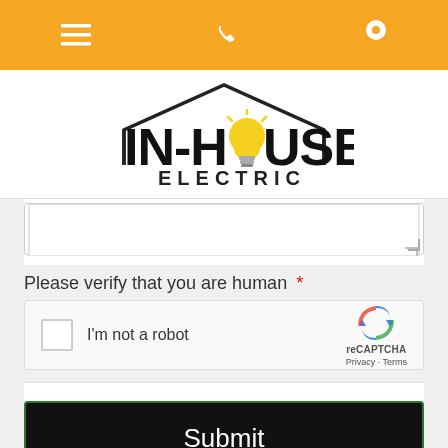Navigation bar with menu, phone, and location icons
[Figure (logo): In-House Electric logo with house outline and lightbulb replacing the 'O' in 'HOUSE', text reads IN-HOUSE ELECTRIC]
[Figure (screenshot): Partially visible textarea input field]
Please verify that you are human *
[Figure (screenshot): reCAPTCHA widget with checkbox labeled 'I'm not a robot' and reCAPTCHA logo with Privacy and Terms links]
Submit button